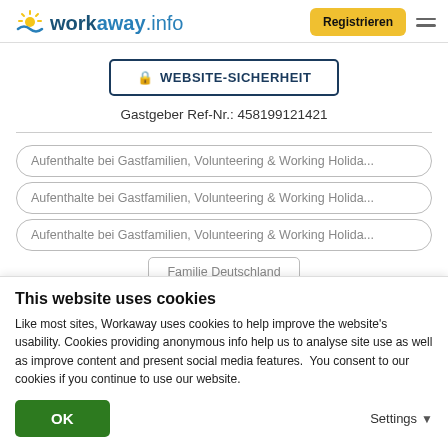[Figure (logo): Workaway.info logo with sun icon]
Registrieren
🔒 WEBSITE-SICHERHEIT
Gastgeber Ref-Nr.: 458199121421
Aufenthalte bei Gastfamilien, Volunteering & Working Holida...
Aufenthalte bei Gastfamilien, Volunteering & Working Holida...
Aufenthalte bei Gastfamilien, Volunteering & Working Holida...
Familie Deutschland
This website uses cookies
Like most sites, Workaway uses cookies to help improve the website's usability. Cookies providing anonymous info help us to analyse site use as well as improve content and present social media features.  You consent to our cookies if you continue to use our website.
OK
Settings